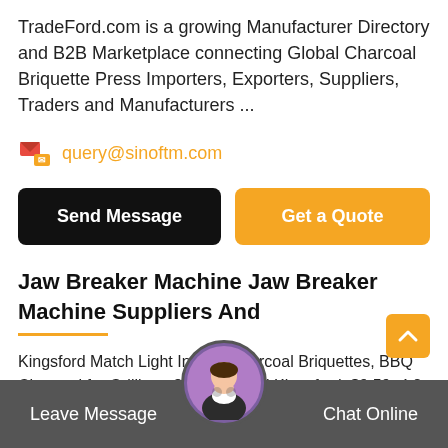TradeFord.com is a growing Manufacturer Directory and B2B Marketplace connecting Global Charcoal Briquette Press Importers, Exporters, Suppliers, Traders and Manufacturers ...
query@sinoftm.com
Send Message | Get a Quote
Jaw Breaker Machine Jaw Breaker Machine Suppliers And
Kingsford Match Light Instant Charcoal Briquettes, BBQ Charcoal for Grilling - 8lbs. Shop all Kingsford. $9.59. 4.2 out of 5 stars with 1246 reviews. 12461246 ...
Copper Mining And Processing Processing Copper Ores
Leave Message  Chat Online